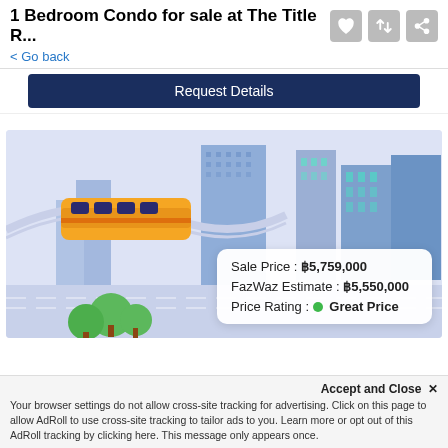1 Bedroom Condo for sale at The Title R...
< Go back
Request Details
[Figure (illustration): Isometric city illustration with a monorail/train, buildings, trees, and roads in blue/purple tones. An overlay tooltip shows: Sale Price: ฿5,759,000 | FazWaz Estimate: ฿5,550,000 | Price Rating: Great Price (green dot)]
Sale Price :  ฿5,759,000
FazWaz Estimate :  ฿5,550,000
Price Rating :  ● Great Price
Accept and Close ✕
Your browser settings do not allow cross-site tracking for advertising. Click on this page to allow AdRoll to use cross-site tracking to tailor ads to you. Learn more or opt out of this AdRoll tracking by clicking here. This message only appears once.